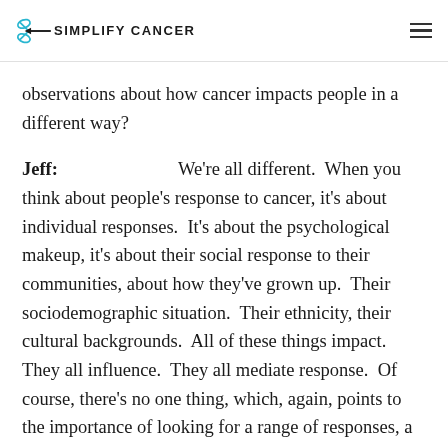SIMPLIFY CANCER
observations about how cancer impacts people in a different way?
Jeff:   We're all different.  When you think about people's response to cancer, it's about individual responses.  It's about the psychological makeup, it's about their social response to their communities, about how they've grown up.  Their sociodemographic situation.  Their ethnicity, their cultural backgrounds.  All of these things impact.  They all influence.  They all mediate response.  Of course, there's no one thing, which, again, points to the importance of looking for a range of responses, a range of channels for patients who are diagnosed